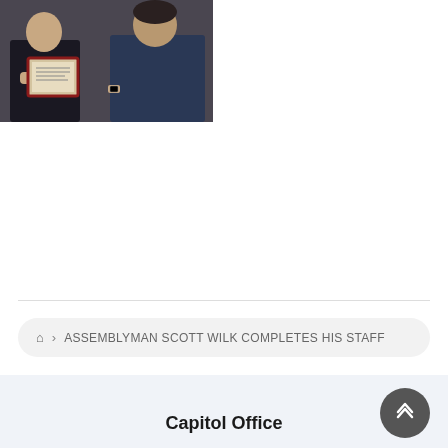[Figure (photo): Two people, one holding a framed certificate/award, appearing to pose for a photo indoors]
VIEW ALL >
🏠 > ASSEMBLYMAN SCOTT WILK COMPLETES HIS STAFF
Capitol Office